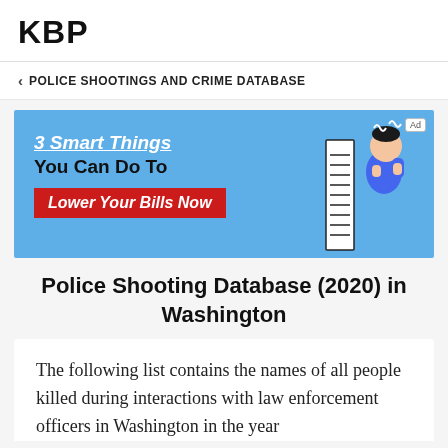KBP
< POLICE SHOOTINGS AND CRIME DATABASE
[Figure (infographic): Advertisement banner with blue background showing text '3 Smart Things You Can Do To Lower Your Bills Now' with an illustration of a man in a blue suit looking at a long bill, and an 'Ad' badge in the top right corner.]
Police Shooting Database (2020) in Washington
The following list contains the names of all people killed during interactions with law enforcement officers in Washington in the year